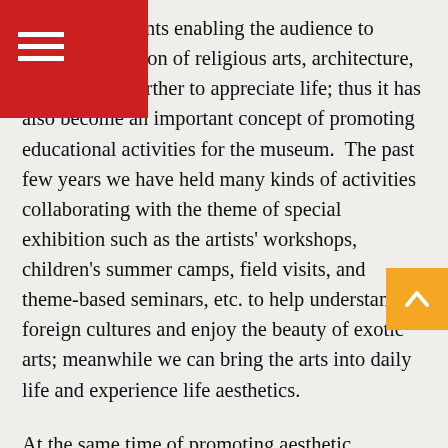edge and contents enabling the audience to appreciate the ion of religious arts, architecture, designs, and further to appreciate life; thus it has also become an important concept of promoting educational activities for the museum.  The past few years we have held many kinds of activities collaborating with the theme of special exhibition such as the artists' workshops, children's summer camps, field visits, and theme-based seminars, etc. to help understand foreign cultures and enjoy the beauty of exotic arts; meanwhile we can bring the arts into daily life and experience life aesthetics.

At the same time of promoting aesthetic education, the "new residents" has become an important topic.  The foreign population in Taiwan increases every year. We are exposed unnoticeably in foreign cultures whether in the kindergarten the high school campus, in the community or in the workplace. Therefore in the recent years, the schools have begun to reinforce the multicultural education and related activities